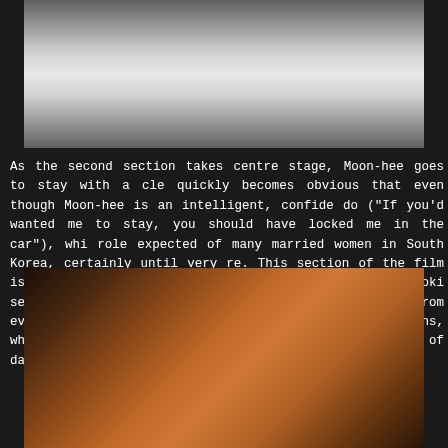[Figure (photo): Two figures lying in bed with white sheets, top-cropped film still]
As the second section takes centre stage, Moon-hee goes to stay with a cle quickly becomes obvious that even though Moon-hee is an intelligent, confi do ("If you'd wanted me to stay, you should have locked me in the car"), whi role expected of many married women in South Korea, certainly until very re This section of the film is also interspersed with scenes of Moon-hee look service, and though this initially seems separate from everything else that w which criticises some actions, while condoning others which are, in reality, light of day.
[Figure (photo): Two figures in an intimate scene, warm amber/orange toned film still]